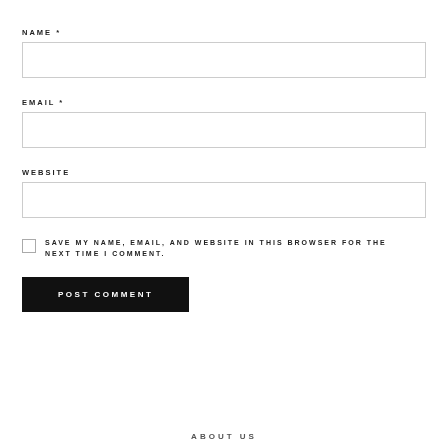NAME *
EMAIL *
WEBSITE
SAVE MY NAME, EMAIL, AND WEBSITE IN THIS BROWSER FOR THE NEXT TIME I COMMENT.
POST COMMENT
ABOUT US